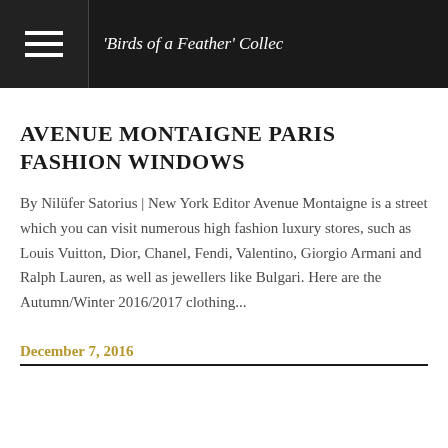'Birds of a Feather' Collec
AVENUE MONTAIGNE PARIS FASHION WINDOWS
By Nilüfer Satorius | New York Editor Avenue Montaigne is a street which you can visit numerous high fashion luxury stores, such as Louis Vuitton, Dior, Chanel, Fendi, Valentino, Giorgio Armani and Ralph Lauren, as well as jewellers like Bulgari. Here are the Autumn/Winter 2016/2017 clothing...
December 7, 2016